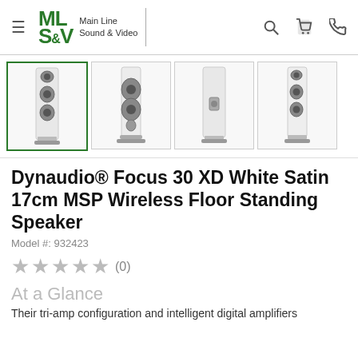ML S&V Main Line Sound & Video
[Figure (photo): Four thumbnail images of the Dynaudio Focus 30 XD White Satin floor standing speaker from different angles: front, side/angled, rear, and front-angled views. First thumbnail is selected (green border).]
Dynaudio® Focus 30 XD White Satin 17cm MSP Wireless Floor Standing Speaker
Model #: 932423
★★★★★ (0)
At a Glance
Their tri-amp configuration and intelligent digital amplifiers